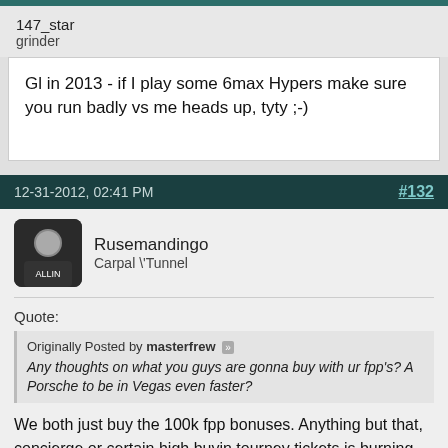147_star
grinder
Gl in 2013 - if I play some 6max Hypers make sure you run badly vs me heads up, tyty ;-)
12-31-2012, 02:41 PM   #132
Rusemandingo
Carpal \'Tunnel
Quote:
Originally Posted by masterfrew
Any thoughts on what you guys are gonna buy with ur fpp's? A Porsche to be in Vegas even faster?
We both just buy the 100k fpp bonuses. Anything but that, concierge or certain high buyin tourney tickets is burning money.